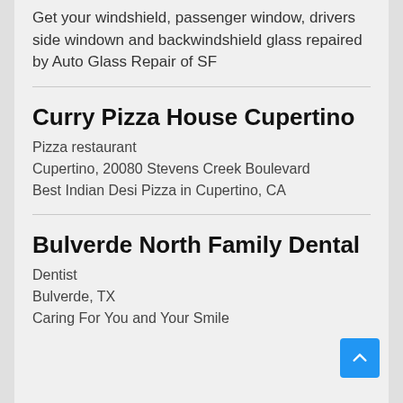Get your windshield, passenger window, drivers side windown and backwindshield glass repaired by Auto Glass Repair of SF
Curry Pizza House Cupertino
Pizza restaurant
Cupertino, 20080 Stevens Creek Boulevard
Best Indian Desi Pizza in Cupertino, CA
Bulverde North Family Dental
Dentist
Bulverde, TX
Caring For You and Your Smile